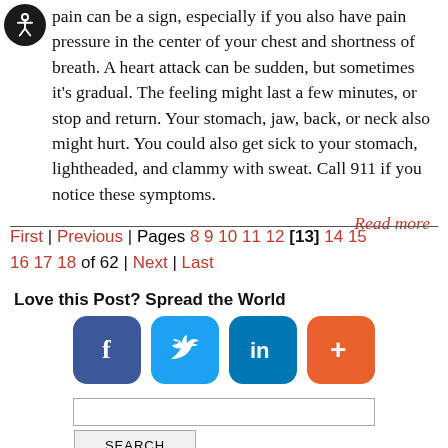pain can be a sign, especially if you also have pain pressure in the center of your chest and shortness of breath. A heart attack can be sudden, but sometimes it's gradual. The feeling might last a few minutes, or stop and return. Your stomach, jaw, back, or neck also might hurt. You could also get sick to your stomach, lightheaded, and clammy with sweat. Call 911 if you notice these symptoms.
Read more
First | Previous | Pages 8 9 10 11 12 [13] 14 15 16 17 18 of 62 | Next | Last
Love this Post? Spread the World
[Figure (other): Social sharing buttons: Facebook (blue rounded square with f), Twitter (light blue rounded square with bird), LinkedIn (teal rounded square with in), and a plus/more button (orange rounded square with +)]
[Figure (other): Search box input field and SEARCH button]